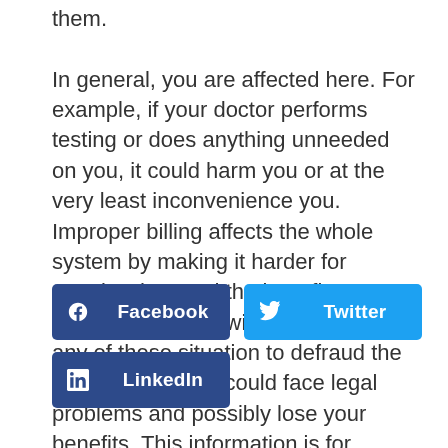them.

In general, you are affected here. For example, if your doctor performs testing or does anything unneeded on you, it could harm you or at the very least inconvenience you. Improper billing affects the whole system by making it harder for people who need the benefits to get them. If you work with the doctor in any of these situation to defraud the system, you, too, could face legal problems and possibly lose your benefits. This information is for education and is not legal advice.
[Figure (other): Social media share buttons: Facebook (dark blue), Twitter (light blue), LinkedIn (dark blue)]